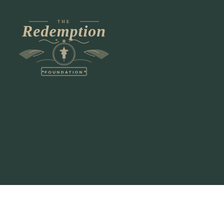[Figure (logo): The Redemption Foundation logo: ornate vintage style with large serif text 'THE REDEMPTION' at top, decorative scrollwork and a cannabis leaf emblem in the center, and 'FOUNDATION' in a banner below. All in a tan/beige color on dark green background.]